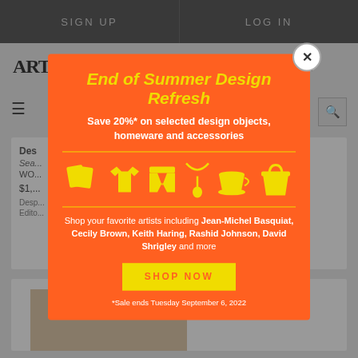SIGN UP  |  LOG IN
[Figure (screenshot): Artspace website background with logo, hamburger menu, search, and content boxes partially visible behind modal overlay]
[Figure (infographic): Orange popup modal: End of Summer Design Refresh promotion with yellow illustrated icons (books, t-shirt, shorts, necklace, tea cup, tote bag), title, subtitle, description, and SHOP NOW button]
End of Summer Design Refresh
Save 20%* on selected design objects, homeware and accessories
Shop your favorite artists including Jean-Michel Basquiat, Cecily Brown, Keith Haring, Rashid Johnson, David Shrigley and more
SHOP NOW
*Sale ends Tuesday September 6, 2022